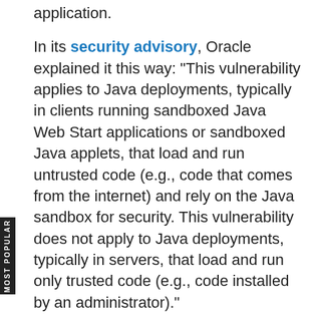application.
In its security advisory, Oracle explained it this way: "This vulnerability applies to Java deployments, typically in clients running sandboxed Java Web Start applications or sandboxed Java applets, that load and run untrusted code (e.g., code that comes from the internet) and rely on the Java sandbox for security. This vulnerability does not apply to Java deployments, typically in servers, that load and run only trusted code (e.g., code installed by an administrator)."
High-profile attacks that exploit deserialization vulnerabilities abound, Holt said. To give me a local example, he cited last year's deserialization attack on the San Francisco Metropolitan Transit Agency's Municipal Rail (MUNI to locals). As security researcher Brian Krebs reported in November, the ransomware attack caused fare station terminals to carry the message, "You are Hacked. ALL Data Encrypted." and fare payment